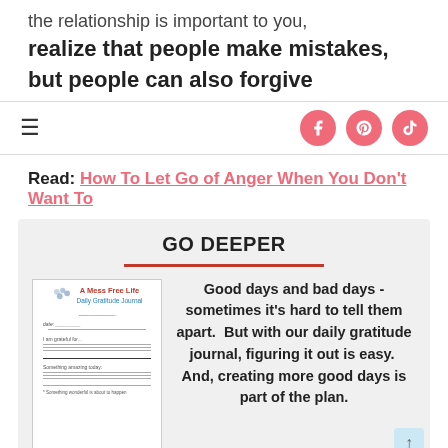the relationship is important to you,
realize that people make mistakes,
but people can also forgive
≡  [Facebook] [Pinterest] [TikTok]
Read:  How To Let Go of Anger When You Don't Want To
GO DEEPER
[Figure (illustration): A Mess Free Life daily gratitude journal thumbnail image]
Good days and bad days - sometimes it's hard to tell them apart.  But with our daily gratitude journal, figuring it out is easy.  And, creating more good days is part of the plan.
SEND ME THE JOURNAL